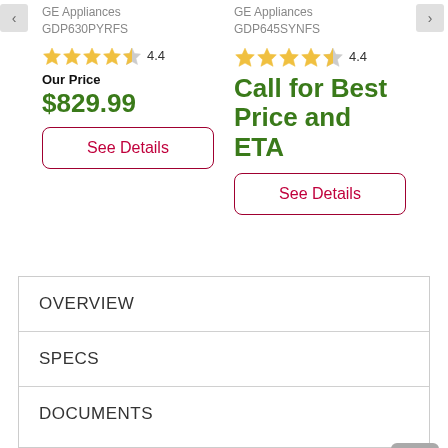GE Appliances
GDP630PYRFS
4.4
Our Price
$829.99
See Details
GE Appliances
GDP645SYNFS
4.4
Call for Best Price and ETA
See Details
OVERVIEW
SPECS
DOCUMENTS